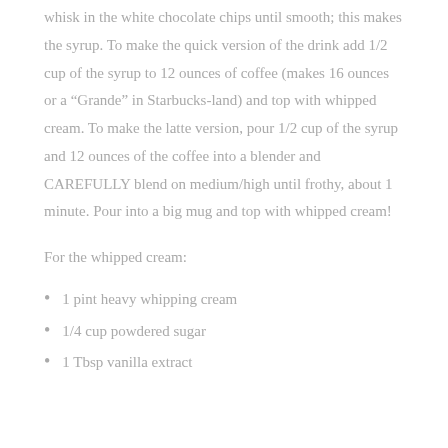whisk in the white chocolate chips until smooth; this makes the syrup.  To make the quick version of the drink add 1/2 cup of the syrup to 12 ounces of coffee (makes 16 ounces or a “Grande” in Starbucks-land) and top with whipped cream.  To make the latte version, pour 1/2 cup of the syrup and 12 ounces of the coffee into a blender and CAREFULLY blend on medium/high until frothy, about 1 minute.  Pour into a big mug and top with whipped cream!
For the whipped cream:
1 pint heavy whipping cream
1/4 cup powdered sugar
1 Tbsp vanilla extract